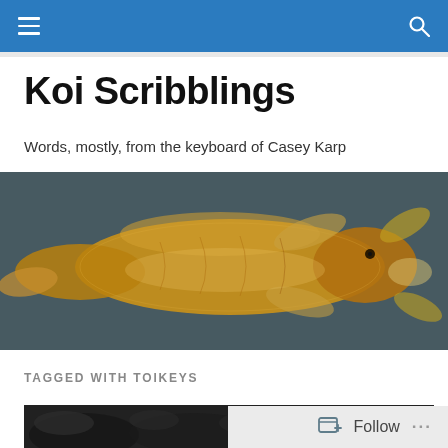Koi Scribblings — navigation bar
Koi Scribblings
Words, mostly, from the keyboard of Casey Karp
[Figure (photo): Overhead view of a golden/orange koi fish swimming in dark water]
TAGGED WITH TOIKEYS
[Figure (photo): Dark image showing foliage or ground cover, partially visible at bottom of page]
Follow